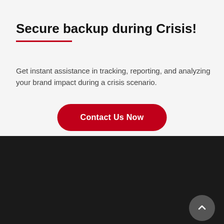Secure backup during Crisis!
Get instant assistance in tracking, reporting, and analyzing your brand impact during a crisis scenario.
Contact Us Now
About Us
DigiMent Research is a Professional Services firm, which offers human-curated media monitoring and intelligence solutions to